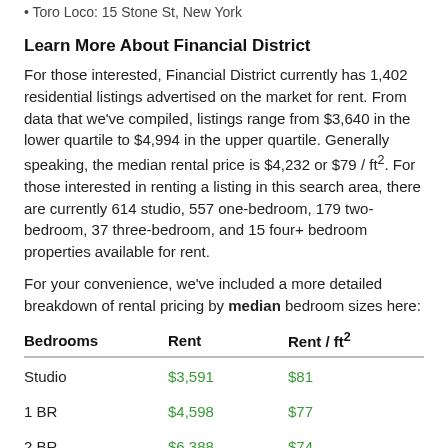Toro Loco: 15 Stone St, New York
Learn More About Financial District
For those interested, Financial District currently has 1,402 residential listings advertised on the market for rent. From data that we've compiled, listings range from $3,640 in the lower quartile to $4,994 in the upper quartile. Generally speaking, the median rental price is $4,232 or $79 / ft². For those interested in renting a listing in this search area, there are currently 614 studio, 557 one-bedroom, 179 two-bedroom, 37 three-bedroom, and 15 four+ bedroom properties available for rent.
For your convenience, we've included a more detailed breakdown of rental pricing by median bedroom sizes here:
| Bedrooms | Rent | Rent / ft² |
| --- | --- | --- |
| Studio | $3,591 | $81 |
| 1 BR | $4,598 | $77 |
| 2 BR | $6,388 | $74 |